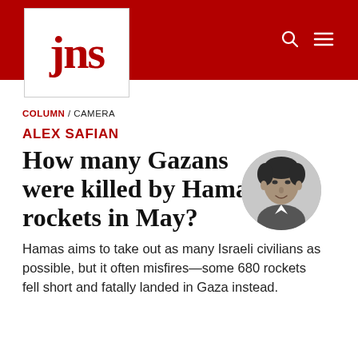jns
COLUMN / CAMERA
ALEX SAFIAN
How many Gazans were killed by Hamas rockets in May?
[Figure (photo): Black and white circular portrait photo of Alex Safian, a man with dark curly hair, smiling slightly.]
Hamas aims to take out as many Israeli civilians as possible, but it often misfires—some 680 rockets fell short and fatally landed in Gaza instead.